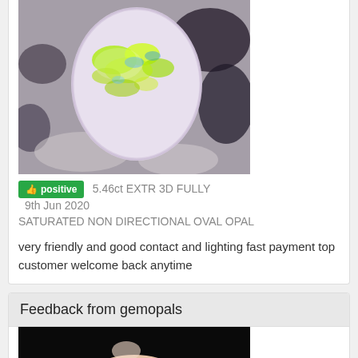[Figure (photo): Close-up photo of an oval opal gemstone showing vivid green, blue, and purple play-of-color, resting on rocky/sandy substrate]
positive  5.46ct EXTR 3D FULLY SATURATED NON DIRECTIONAL OVAL OPAL  9th Jun 2020
very friendly and good contact and lighting fast payment top customer welcome back anytime
Feedback from gemopals
[Figure (photo): Close-up macro photo of a finger/thumb holding or touching something, with black background]